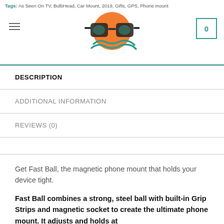Tags: As Seen On TV, BulbHead, Car Mount, 2019, Gifts, GPS, Phone mount
[Figure (logo): BulbHead logo with sunglasses on an orange sun with teal waves]
DESCRIPTION
ADDITIONAL INFORMATION
REVIEWS (0)
Get Fast Ball, the magnetic phone mount that holds your device tight.
Fast Ball combines a strong, steel ball with built-in Grip Strips and magnetic socket to create the ultimate phone mount. It adjusts and holds at